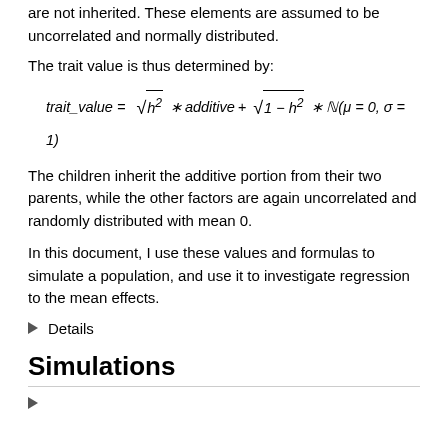are not inherited. These elements are assumed to be uncorrelated and normally distributed.
The trait value is thus determined by:
The children inherit the additive portion from their two parents, while the other factors are again uncorrelated and randomly distributed with mean 0.
In this document, I use these values and formulas to simulate a population, and use it to investigate regression to the mean effects.
Details
Simulations